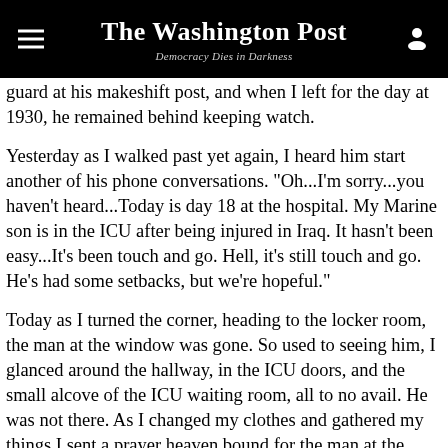The Washington Post — Democracy Dies in Darkness
guard at his makeshift post, and when I left for the day at 1930, he remained behind keeping watch.
Yesterday as I walked past yet again, I heard him start another of his phone conversations. "Oh...I'm sorry...you haven't heard...Today is day 18 at the hospital. My Marine son is in the ICU after being injured in Iraq. It hasn't been easy...It's been touch and go. Hell, it's still touch and go. He's had some setbacks, but we're hopeful."
Today as I turned the corner, heading to the locker room, the man at the window was gone. So used to seeing him, I glanced around the hallway, in the ICU doors, and the small alcove of the ICU waiting room, all to no avail. He was not there. As I changed my clothes and gathered my things I sent a prayer heaven bound for the man at the window and his Marine son.